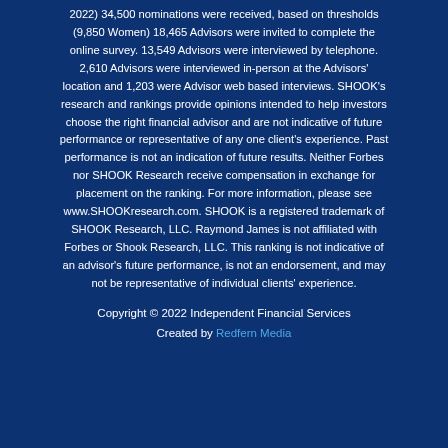2022) 34,500 nominations were received, based on thresholds (9,850 Women) 18,465 Advisors were invited to complete the online survey. 13,549 Advisors were interviewed by telephone. 2,610 Advisors were interviewed in-person at the Advisors' location and 1,203 were Advisor web based interviews. SHOOK's research and rankings provide opinions intended to help investors choose the right financial advisor and are not indicative of future performance or representative of any one client's experience. Past performance is not an indication of future results. Neither Forbes nor SHOOK Research receive compensation in exchange for placement on the ranking. For more information, please see www.SHOOKresearch.com. SHOOK is a registered trademark of SHOOK Research, LLC. Raymond James is not affiliated with Forbes or Shook Research, LLC. This ranking is not indicative of an advisor's future performance, is not an endorsement, and may not be representative of individual clients' experience.
Copyright © 2022 Independent Financial Services
Created by Redfern Media